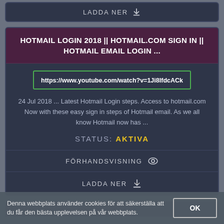LADDA NER
HOTMAIL LOGIN 2018 || HOTMAIL.COM SIGN IN || HOTMAIL EMAIL LOGIN ...
https://www.youtube.com/watch?v=1Ji8IfdcACk
24 Jul 2018 ... Latest Hotmail Login steps. Access to hotmail.com Now with these easy sign in steps of Hotmail email. As we all know Hotmail now has ...
STATUS: AKTIVA
FÖRHANDSVISNING
LADDA NER
Denna webbplats använder cookies för att säkerställa att du får den bästa upplevelsen på vår webbplats.
OK